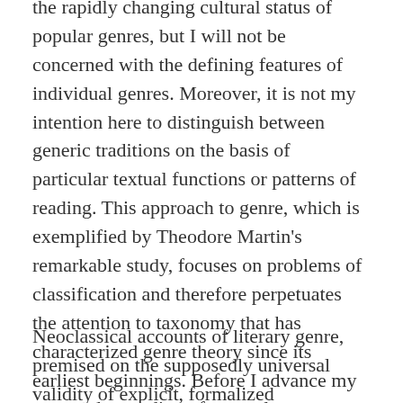the rapidly changing cultural status of popular genres, but I will not be concerned with the defining features of individual genres. Moreover, it is not my intention here to distinguish between generic traditions on the basis of particular textual functions or patterns of reading. This approach to genre, which is exemplified by Theodore Martin's remarkable study, focuses on problems of classification and therefore perpetuates the attention to taxonomy that has characterized genre theory since its earliest beginnings. Before I advance my own understanding of genre, let me therefore address this long and important tradition.²
Neoclassical accounts of literary genre, premised on the supposedly universal validity of explicit, formalized